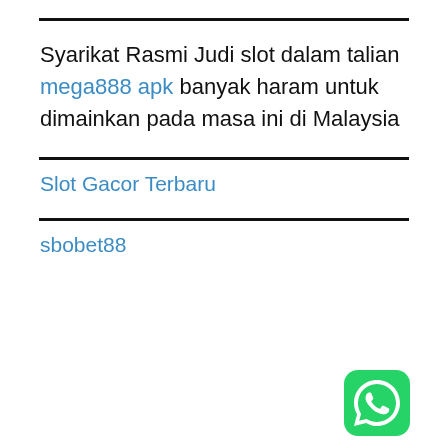Syarikat Rasmi Judi slot dalam talian mega888 apk banyak haram untuk dimainkan pada masa ini di Malaysia
Slot Gacor Terbaru
sbobet88
[Figure (logo): WhatsApp green rounded square icon with white phone handset]